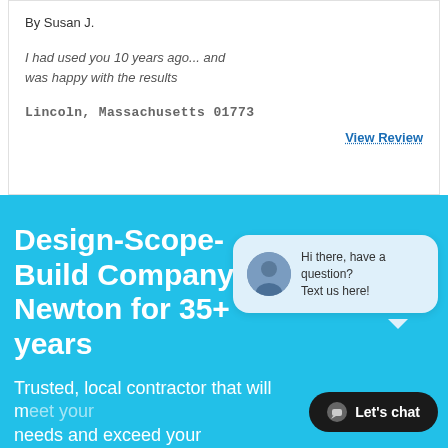By Susan J.
I had used you 10 years ago… and was happy with the results
Lincoln, Massachusetts 01773
View Review
Design-Scope-Build Company in Newton for 35+ years
Trusted, local contractor that will meet your needs and exceed your expectations
[Figure (screenshot): Chat popup overlay with avatar and text 'Hi there, have a question? Text us here!' and a 'Let's chat' button]